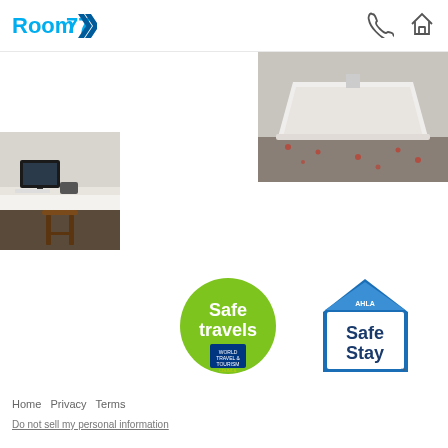[Figure (logo): Room 77 logo with blue text and blue double-chevron icon]
[Figure (illustration): Phone handset icon (outline)]
[Figure (illustration): House/home icon (outline)]
[Figure (photo): Photo of a bathtub in a corner with decorative petals on the floor]
[Figure (photo): Photo of a hotel business center with computer monitor on a white desk and a bar stool]
[Figure (logo): Safe Travels green circle stamp badge with World Travel & Tourism Council branding]
[Figure (logo): AHLA Safe Stay blue shield/house badge]
Home  Privacy  Terms
Do not sell my personal information